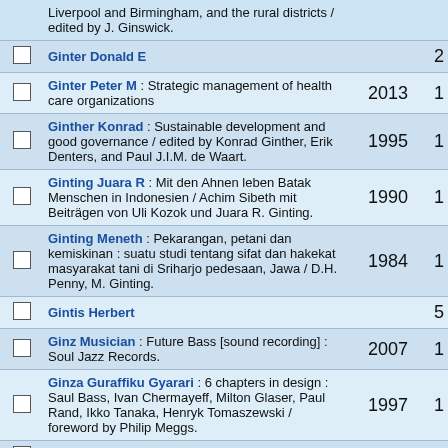Liverpool and Birmingham, and the rural districts / edited by J. Ginswick.
Ginter Donald E — 2
Ginter Peter M : Strategic management of health care organizations — 2013 — 1
Ginther Konrad : Sustainable development and good governance / edited by Konrad Ginther, Erik Denters, and Paul J.I.M. de Waart. — 1995 — 1
Ginting Juara R : Mit den Ahnen leben Batak Menschen in Indonesien / Achim Sibeth mit Beiträgen von Uli Kozok und Juara R. Ginting. — 1990 — 1
Ginting Meneth : Pekarangan, petani dan kemiskinan : suatu studi tentang sifat dan hakekat masyarakat tani di Sriharjo pedesaan, Jawa / D.H. Penny, M. Ginting. — 1984 — 1
Gintis Herbert — 5
Ginz Musician : Future Bass [sound recording] : Soul Jazz Records. — 2007 — 1
Ginza Guraffiku Gyarari : 6 chapters in design : Saul Bass, Ivan Chermayeff, Milton Glaser, Paul Rand, Ikko Tanaka, Henryk Tomaszewski / foreword by Philip Meggs. — 1997 — 1
Ginzberg Eli — 8